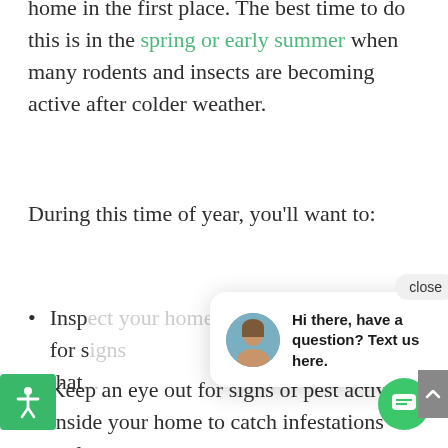home in the first place. The best time to do this is in the spring or early summer when many rodents and insects are becoming active after colder weather.
During this time of year, you'll want to:
Inspect [partially obscured by chat popup] for signs... that...
Keep an eye out for signs of pest activity inside your home to catch infestations early
Have a licensed pest-control
[Figure (screenshot): Chat popup overlay with close button, avatar of a woman, and message: 'Hi there, have a question? Text us here.']
[Figure (illustration): Green circular chat button with message icon]
[Figure (illustration): Green accessibility icon button in bottom left]